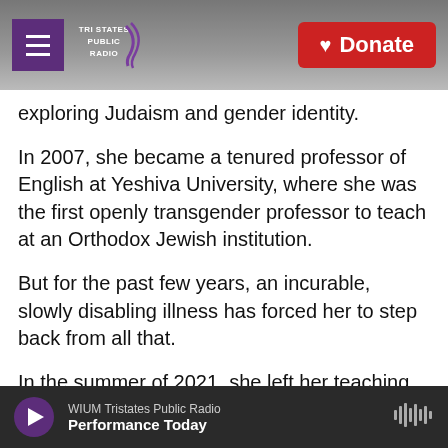Tri States Public Radio | Donate
exploring Judaism and gender identity.
In 2007, she became a tenured professor of English at Yeshiva University, where she was the first openly transgender professor to teach at an Orthodox Jewish institution.
But for the past few years, an incurable, slowly disabling illness has forced her to step back from all that.
In the summer of 2021, she left her teaching position and began accepting disability benefits. And now she must spend most of her day lying
WIUM Tristates Public Radio
Performance Today